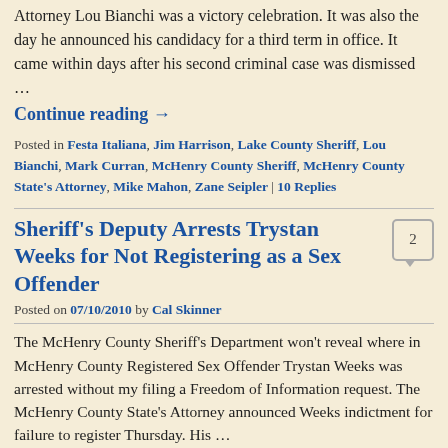Attorney Lou Bianchi was a victory celebration. It was also the day he announced his candidacy for a third term in office. It came within days after his second criminal case was dismissed …
Continue reading →
Posted in Festa Italiana, Jim Harrison, Lake County Sheriff, Lou Bianchi, Mark Curran, McHenry County Sheriff, McHenry County State's Attorney, Mike Mahon, Zane Seipler | 10 Replies
Sheriff's Deputy Arrests Trystan Weeks for Not Registering as a Sex Offender
Posted on 07/10/2010 by Cal Skinner
The McHenry County Sheriff's Department won't reveal where in McHenry County Registered Sex Offender Trystan Weeks was arrested without my filing a Freedom of Information request. The McHenry County State's Attorney announced Weeks indictment for failure to register Thursday. His …
Continue reading →
Posted in Indictment, Lake County Sheriff, McHenry County Sheriff, McHenry County Sheriff's Department, Michelle Asplund, Sex